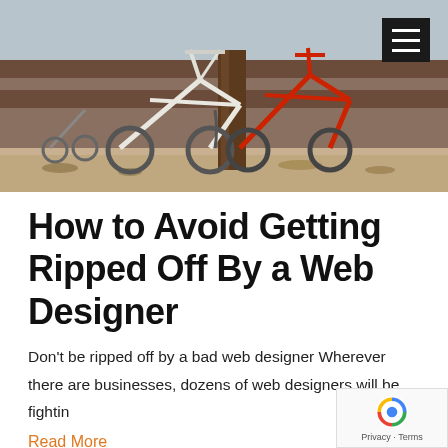[Figure (photo): Photo of two bicycles (one white, one red) chained or leaned against a bench near a tree, outdoor setting with fallen leaves on the ground]
How to Avoid Getting Ripped Off By a Web Designer
Don't be ripped off by a bad web designer Wherever there are businesses, dozens of web designers will be fightin
Read More